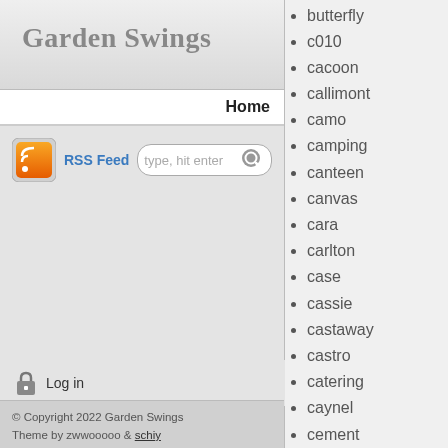Garden Swings
Home
[Figure (other): RSS feed icon and search box with placeholder text 'type, hit enter']
Log in
© Copyright 2022 Garden Swings
Theme by zwwooooo & schiy
| Powered by WordPress
butterfly
c010
cacoon
callimont
camo
camping
canteen
canvas
cara
carlton
case
cassie
castaway
castro
catering
caynel
cement
chain
chair
change
charles